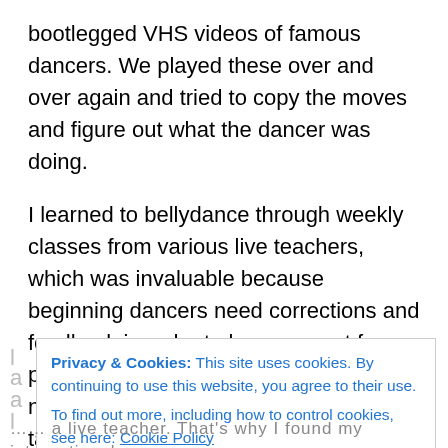bootlegged VHS videos of famous dancers. We played these over and over again and tried to copy the moves and figure out what the dancer was doing.
I learned to bellydance through weekly classes from various live teachers, which was invaluable because beginning dancers need corrections and feedback in order to learn correct form, posture and technique. And boy, did I need correction! I still do, that's why I take weekly ballet classes and go to workshops. Being a professional dancer means being a lifelong student.
Privacy & Cookies: This site uses cookies. By continuing to use this website, you agree to their use.
To find out more, including how to control cookies, see here: Cookie Policy
Close and accept